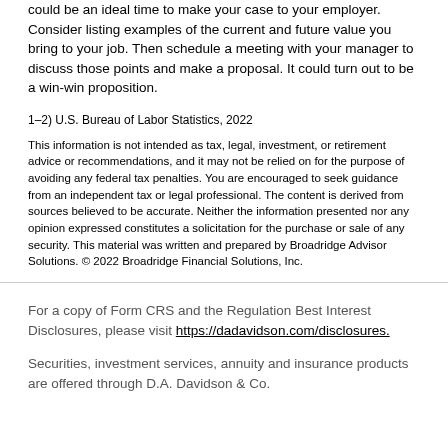could be an ideal time to make your case to your employer. Consider listing examples of the current and future value you bring to your job. Then schedule a meeting with your manager to discuss those points and make a proposal. It could turn out to be a win-win proposition.
1–2) U.S. Bureau of Labor Statistics, 2022
This information is not intended as tax, legal, investment, or retirement advice or recommendations, and it may not be relied on for the purpose of avoiding any federal tax penalties. You are encouraged to seek guidance from an independent tax or legal professional. The content is derived from sources believed to be accurate. Neither the information presented nor any opinion expressed constitutes a solicitation for the purchase or sale of any security. This material was written and prepared by Broadridge Advisor Solutions. © 2022 Broadridge Financial Solutions, Inc.
For a copy of Form CRS and the Regulation Best Interest Disclosures, please visit https://dadavidson.com/disclosures.
Securities, investment services, annuity and insurance products are offered through D.A. Davidson & Co.